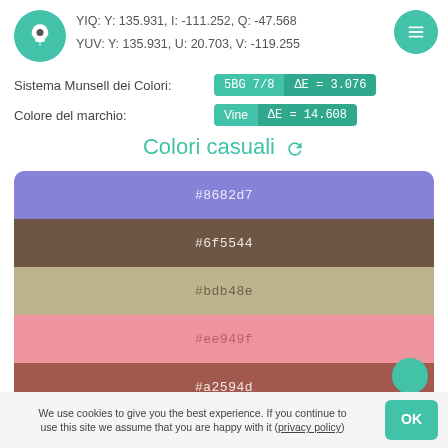YIQ: Y: 135.931, I: -111.252, Q: -47.568
YUV: Y: 135.931, U: 20.703, V: -119.255
Sistema Munsell dei Colori: 5BG 7/8 ΔE = 3.076
Colore del marchio: Vine ΔE = 14.608
Colori casuali
[Figure (infographic): Color swatches: #8682d7 (purple), #6f5544 (brown), #bdb48e (tan), #ee949f (pink), #a2594d (dark red)]
We use cookies to give you the best experience. If you continue to use this site we assume that you are happy with it (privacy policy)